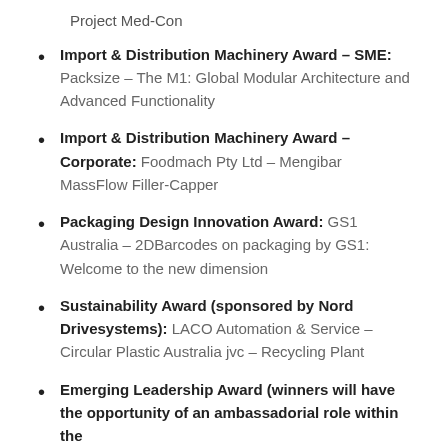Project Med-Con
Import & Distribution Machinery Award – SME: Packsize – The M1: Global Modular Architecture and Advanced Functionality
Import & Distribution Machinery Award – Corporate: Foodmach Pty Ltd – Mengibar MassFlow Filler-Capper
Packaging Design Innovation Award: GS1 Australia – 2DBarcodes on packaging by GS1: Welcome to the new dimension
Sustainability Award (sponsored by Nord Drivesystems): LACO Automation & Service – Circular Plastic Australia jvc – Recycling Plant
Emerging Leadership Award (winners will have the opportunity of an ambassadorial role within the